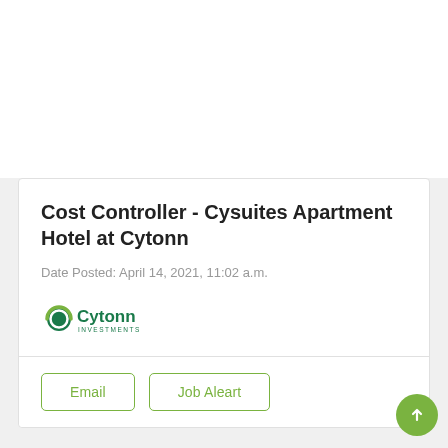Cost Controller - Cysuites Apartment Hotel at Cytonn
Date Posted: April 14, 2021, 11:02 a.m.
[Figure (logo): Cytonn Investments logo — green circular icon with a smaller circle and arc, followed by bold green text 'Cytonn' and smaller text 'INVESTMENTS']
Email
Job Aleart